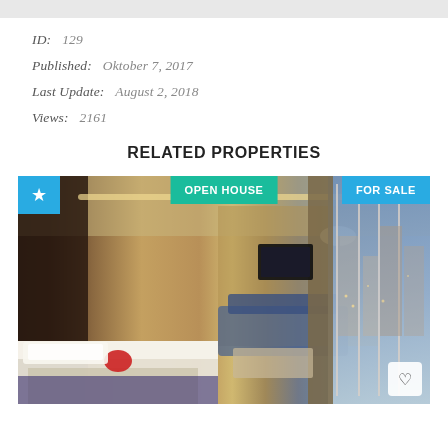ID:  129
Published:  Oktober 7, 2017
Last Update:  August 2, 2018
Views:  2161
RELATED PROPERTIES
[Figure (photo): Luxury hotel room interior with bed, sofa seating area, decorative lighting, curtains, and a large window showing a city view at dusk. Overlay badges: star icon (top-left, blue), OPEN HOUSE (top-center, teal), FOR SALE (top-right, blue), heart icon (bottom-right).]